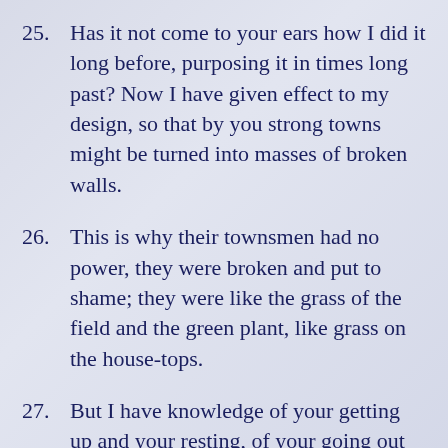25. Has it not come to your ears how I did it long before, purposing it in times long past? Now I have given effect to my design, so that by you strong towns might be turned into masses of broken walls.
26. This is why their townsmen had no power, they were broken and put to shame; they were like the grass of the field and the green plant, like grass on the house-tops.
27. But I have knowledge of your getting up and your resting, of your going out and your coming in.